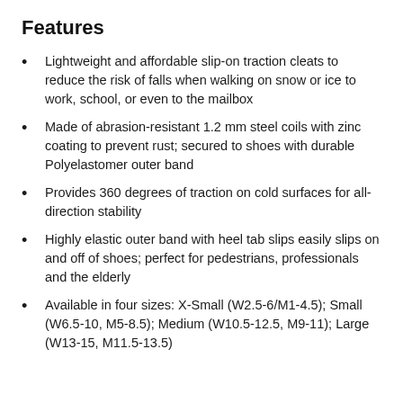Features
Lightweight and affordable slip-on traction cleats to reduce the risk of falls when walking on snow or ice to work, school, or even to the mailbox
Made of abrasion-resistant 1.2 mm steel coils with zinc coating to prevent rust; secured to shoes with durable Polyelastomer outer band
Provides 360 degrees of traction on cold surfaces for all-direction stability
Highly elastic outer band with heel tab slips easily slips on and off of shoes; perfect for pedestrians, professionals and the elderly
Available in four sizes: X-Small (W2.5-6/M1-4.5); Small (W6.5-10, M5-8.5); Medium (W10.5-12.5, M9-11); Large (W13-15, M11.5-13.5)